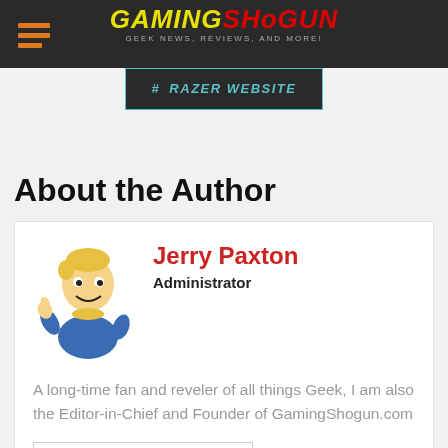GAMING SHOGUN — GEEK NEWS, REVIEWS, AND MORE!
# RAZER WEBSITE
About the Author
Jerry Paxton
Administrator
A long-time fan and reveler of all things Geek, I am also the Editor-in-Chief and Founder of GamingShogun.com
See author's posts